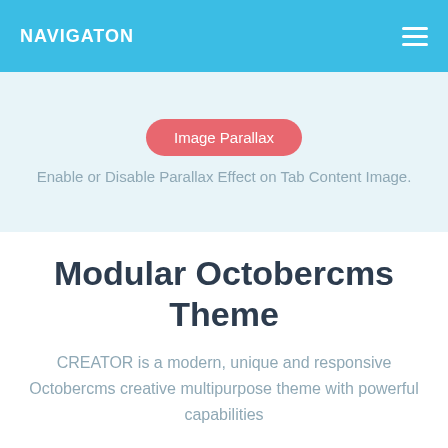NAVIGATON
Image Parallax
Enable or Disable Parallax Effect on Tab Content Image.
Modular Octobercms Theme
CREATOR is a modern, unique and responsive Octobercms creative multipurpose theme with powerful capabilities